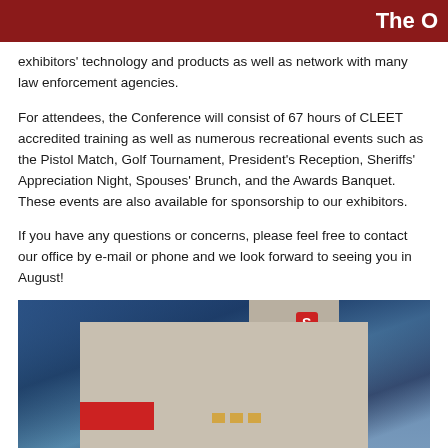The O
exhibitors' technology and products as well as network with many law enforcement agencies.
For attendees, the Conference will consist of 67 hours of CLEET accredited training as well as numerous recreational events such as the Pistol Match, Golf Tournament, President's Reception, Sheriffs' Appreciation Night, Spouses' Brunch, and the Awards Banquet.  These events are also available for sponsorship to our exhibitors.
If you have any questions or concerns, please feel free to contact our office by e-mail or phone and we look forward to seeing you in August!
[Figure (photo): Exterior photograph of a building at dusk/evening with blue sky, showing a modern structure with a red logo sign on the tower and illuminated windows.]